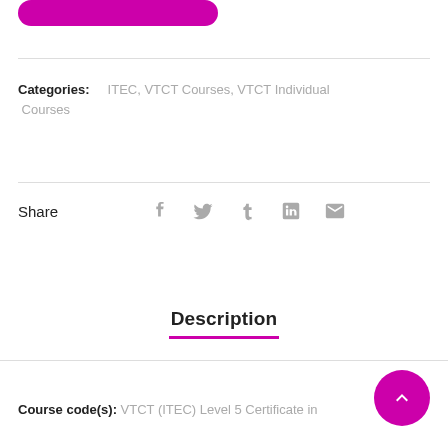[Figure (other): Pink/magenta rounded button partially visible at top of page (CONTACT US button)]
Categories: ITEC, VTCT Courses, VTCT Individual Courses
Share
[Figure (other): Social media share icons: Facebook, Twitter, Tumblr, LinkedIn, Email]
Description
Course code(s): VTCT (ITEC) Level 5 Certificate in